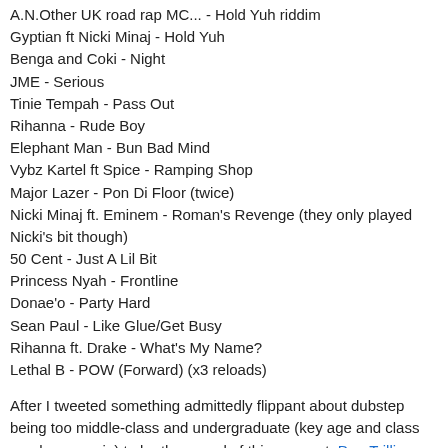A.N.Other UK road rap MC... - Hold Yuh riddim
Gyptian ft Nicki Minaj - Hold Yuh
Benga and Coki - Night
JME - Serious
Tinie Tempah - Pass Out
Rihanna - Rude Boy
Elephant Man - Bun Bad Mind
Vybz Kartel ft Spice - Ramping Shop
Major Lazer - Pon Di Floor (twice)
Nicki Minaj ft. Eminem - Roman's Revenge (they only played Nicki's bit though)
50 Cent - Just A Lil Bit
Princess Nyah - Frontline
Donae'o - Party Hard
Sean Paul - Like Glue/Get Busy
Rihanna ft. Drake - What's My Name?
Lethal B - POW (Forward) (x3 reloads)
After I tweeted something admittedly flippant about dubstep being too middle-class and undergraduate (key age and class gap here, again) to be the sound of this moment, Dan Trilling wrote to me: